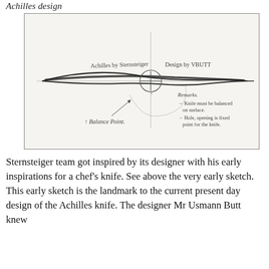Achilles design
[Figure (illustration): Early hand-drawn pencil sketch of a chef's knife design. The sketch shows a side profile of a knife blade with construction lines. Handwritten text reads 'Achilles by Sternsteiger' and 'Design by VBUTT'. A circle near the handle area is labeled. Below: an arrow pointing to 'Balance Point.' On the right side, 'Remarks.' with two bullet points: '→ Knife must be balanced on surface.' and '→ Hole, opening is fixed point for the knife.']
Sternsteiger team got inspired by its designer with his early inspirations for a chef's knife. See above the very early sketch. This early sketch is the landmark to the current present day design of the Achilles knife. The designer Mr Usmann Butt knew